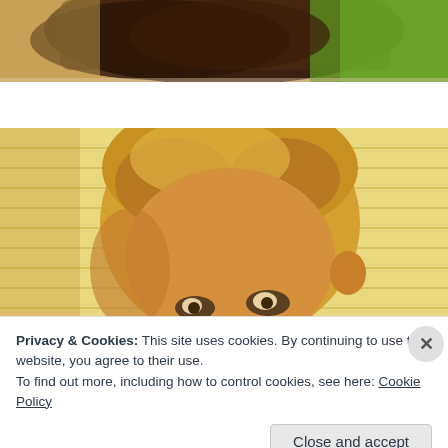[Figure (photo): Top portion of a photo showing dark mulch/soil in a circular planter and green grass, cropped at the top of the page]
[Figure (photo): Photo of a young blonde child peeking over something, with a warm yellow-toned background of horizontal lines/siding]
Privacy & Cookies: This site uses cookies. By continuing to use this website, you agree to their use.
To find out more, including how to control cookies, see here: Cookie Policy
Close and accept